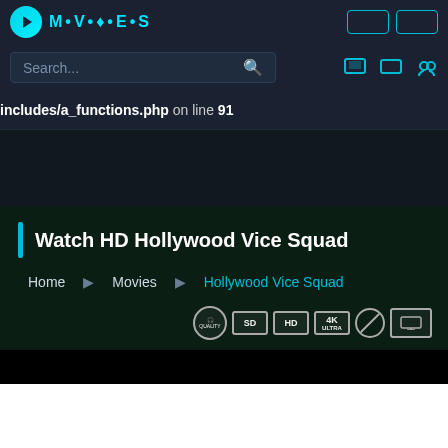Navigation bar with search and icons
includes/a_functions.php on line 91
Watch HD Hollywood Vice Squad
Home  Movies  Hollywood Vice Squad
[Figure (screenshot): Quality badges: Dolby sound, SD, HD, 4K, no-ads, screen icons]